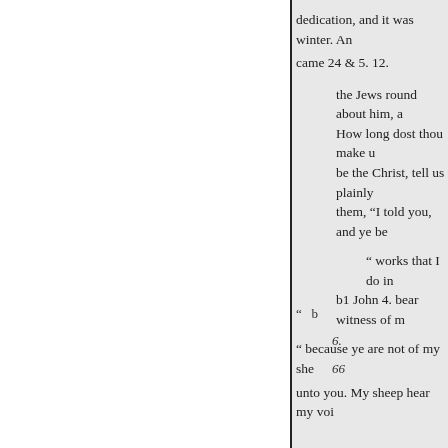dedication, and it was winter. And came 24 & 5. 12.
the Jews round about him, and How long dost thou make u be the Christ, tell us plainly them, “I told you, and ye be
“ works that I do in b1 John 4. bear witness of m
“ because ye are not of my she
unto you. My sheep hear my voi
“  b
6.
66